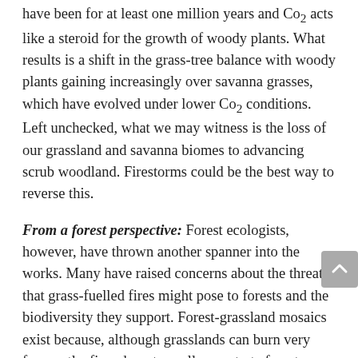have been for at least one million years and Co₂ acts like a steroid for the growth of woody plants. What results is a shift in the grass-tree balance with woody plants gaining increasingly over savanna grasses, which have evolved under lower Co₂ conditions. Left unchecked, what we may witness is the loss of our grassland and savanna biomes to advancing scrub woodland. Firestorms could be the best way to reverse this.
From a forest perspective: Forest ecologists, however, have thrown another spanner into the works. Many have raised concerns about the threat that grass-fuelled fires might pose to forests and the biodiversity they support. Forest-grassland mosaics exist because, although grasslands can burn very frequently, fires do not usually penetrate forests. Typically these fires require a continuous supply of grass fuel for the fires to spread